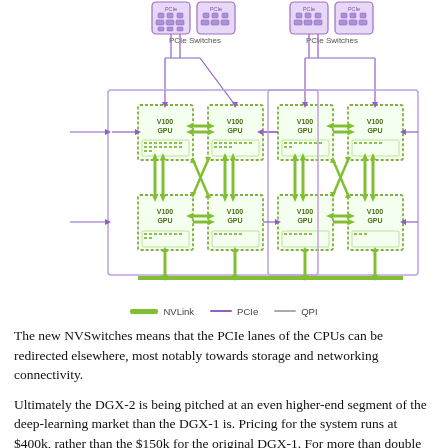[Figure (engineering-diagram): NVLink interconnect topology diagram showing 8 V100 GPUs arranged in two groups of 4, connected via NVLink (green double-headed arrows), with PCIe Switches (purple) above each group, and cross-group connections via PCIe and QPI links. Legend shows NVLink (green thick), PCIe (purple thin), QPI (gray thin).]
The new NVSwitches means that the PCIe lanes of the CPUs can be redirected elsewhere, most notably towards storage and networking connectivity.
Ultimately the DGX-2 is being pitched at an even higher-end segment of the deep-learning market than the DGX-1 is. Pricing for the system runs at $400k, rather than the $150k for the original DGX-1. For more than double the money, the user gets Xeon Platinums (rather than v4), double the V100 GPUs each with double the HBM2, triple the DRAM, and 15x the NVMe storage.